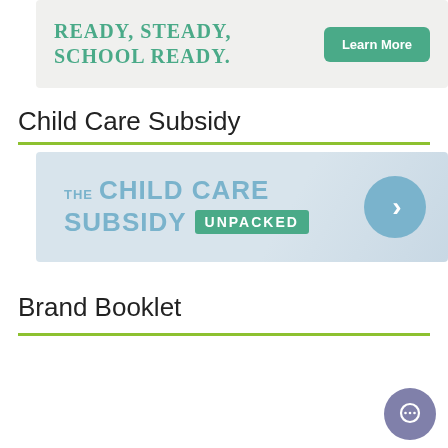[Figure (illustration): Banner with handwritten-style text 'READY, STEADY, SCHOOL READY.' in teal/green on a light textured background, with a green 'Learn More' button on the right.]
Child Care Subsidy
[Figure (illustration): Banner reading 'THE CHILD CARE SUBSIDY UNPACKED' in blue and teal lettering on a light blue-grey background, with a blue circle arrow button on the right.]
Brand Booklet